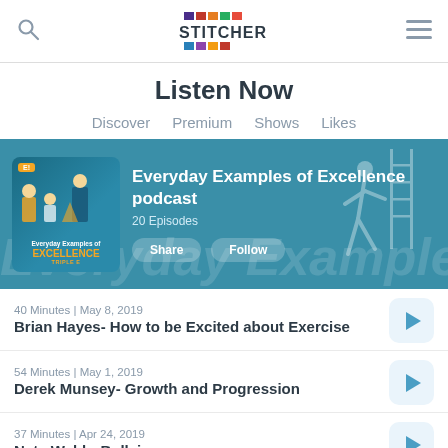Stitcher - Listen Now
Listen Now
Discover  Premium  Shows  Likes
[Figure (screenshot): Featured podcast banner for 'Everyday Examples of Excellence podcast' with podcast cover art, 20 Episodes, Share and Follow buttons on a teal background]
40 Minutes | May 8, 2019
Brian Hayes- How to be Excited about Exercise
54 Minutes | May 1, 2019
Derek Munsey- Growth and Progression
37 Minutes | Apr 24, 2019
Nate Webb- Bullying
47 Minutes | Apr 17, 2019